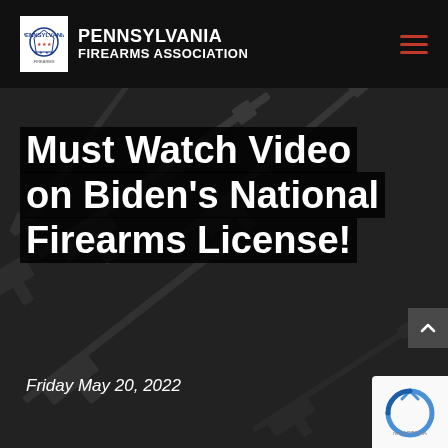PENNSYLVANIA FIREARMS ASSOCIATION
Must Watch Video on Biden's National Firearms License!
Friday May 20, 2022
[Figure (screenshot): Website screenshot of Pennsylvania Firearms Association page with article title and date on dark background with gun silhouettes pattern]